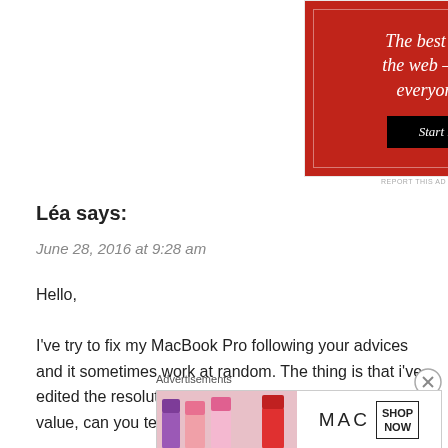[Figure (screenshot): Red advertisement banner with white italic text 'The best stories on the web – ours, and everyone else's.' and a black 'Start reading' button, with inner white border]
REPORT THIS AD
Léa says:
June 28, 2016 at 9:28 am
Hello,

I've try to fix my MacBook Pro following your advices and it sometimes work at random. The thing is that i've edited the resolution and I don't remember it's original value, can you tell m
Advertisements
[Figure (screenshot): MAC cosmetics advertisement showing lipstick products on the left and MAC logo with 'SHOP NOW' button on the right]